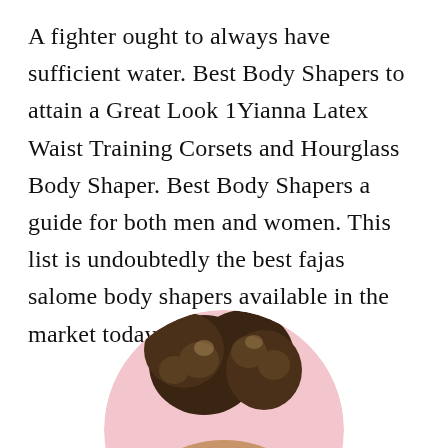A fighter ought to always have sufficient water. Best Body Shapers to attain a Great Look 1Yianna Latex Waist Training Corsets and Hourglass Body Shaper. Best Body Shapers a guide for both men and women. This list is undoubtedly the best fajas salome body shapers available in the market today. 1 of 5.
[Figure (photo): A woman's neck and shoulder area wearing a black bra/body shaper, with curly hair, against a pink circular background. The image is cropped in a circle.]